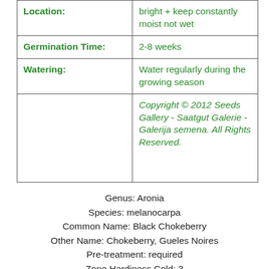| Location: | bright + keep constantly moist not wet |
| Germination Time: | 2-8 weeks |
| Watering: | Water regularly during the growing season |
|  | Copyright © 2012 Seeds Gallery - Saatgut Galerie - Galerija semena. All Rights Reserved. |
Genus: Aronia
Species: melanocarpa
Common Name: Black Chokeberry
Other Name: Chokeberry, Gueles Noires
Pre-treatment: required
Zone Hardiness Cold: 3
Zone Hardiness warm: 8